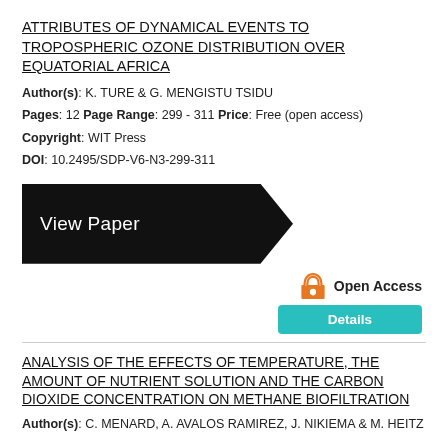ATTRIBUTES OF DYNAMICAL EVENTS TO TROPOSPHERIC OZONE DISTRIBUTION OVER EQUATORIAL AFRICA
Author(s): K. TURE & G. MENGISTU TSIDU
Pages: 12 Page Range: 299 - 311 Price: Free (open access)
Copyright: WIT Press
DOI: 10.2495/SDP-V6-N3-299-311
[Figure (other): Black arrow-shaped button with white text 'View Paper']
[Figure (logo): Open Access padlock icon in orange, next to 'Open Access' text and a teal 'Details' button]
ANALYSIS OF THE EFFECTS OF TEMPERATURE, THE AMOUNT OF NUTRIENT SOLUTION AND THE CARBON DIOXIDE CONCENTRATION ON METHANE BIOFILTRATION
Author(s): C. MENARD, A. AVALOS RAMIREZ, J. NIKIEMA & M. HEITZ